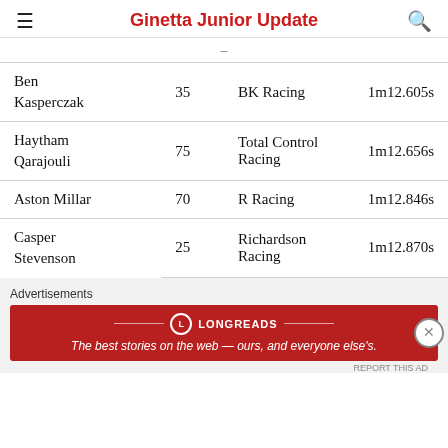Ginetta Junior Update
| Driver | Number | Team | Time |
| --- | --- | --- | --- |
| Ben Kasperczak | 35 | BK Racing | 1m12.605s |
| Haytham Qarajouli | 75 | Total Control Racing | 1m12.656s |
| Aston Millar | 70 | R Racing | 1m12.846s |
| Casper Stevenson | 25 | Richardson Racing | 1m12.870s |
Advertisements
[Figure (other): Longreads advertisement banner: The best stories on the web — ours, and everyone else's.]